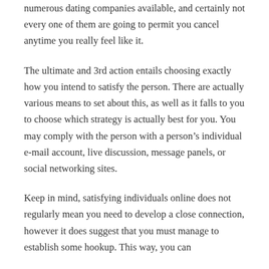numerous dating companies available, and certainly not every one of them are going to permit you cancel anytime you really feel like it.
The ultimate and 3rd action entails choosing exactly how you intend to satisfy the person. There are actually various means to set about this, as well as it falls to you to choose which strategy is actually best for you. You may comply with the person with a person’s individual e-mail account, live discussion, message panels, or social networking sites.
Keep in mind, satisfying individuals online does not regularly mean you need to develop a close connection, however it does suggest that you must manage to establish some hookup. This way, you can